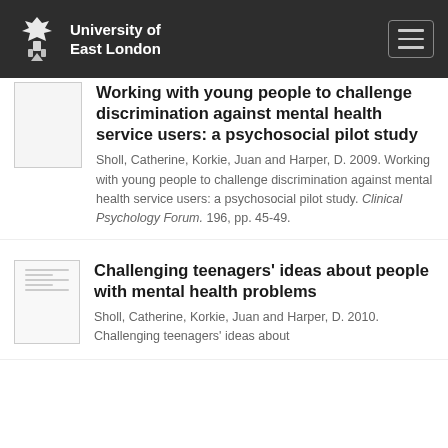University of East London
Working with young people to challenge discrimination against mental health service users: a psychosocial pilot study
Sholl, Catherine, Korkie, Juan and Harper, D. 2009. Working with young people to challenge discrimination against mental health service users: a psychosocial pilot study. Clinical Psychology Forum. 196, pp. 45-49.
Challenging teenagers' ideas about people with mental health problems
Sholl, Catherine, Korkie, Juan and Harper, D. 2010. Challenging teenagers' ideas about